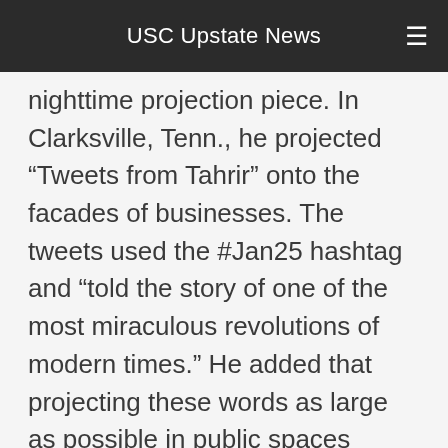USC Upstate News
nighttime projection piece. In Clarksville, Tenn., he projected “Tweets from Tahrir” onto the facades of businesses. The tweets used the #Jan25 hashtag and “told the story of one of the most miraculous revolutions of modern times.” He added that projecting these words as large as possible in public spaces “gave them a sense of importance and monumentality.”
The entire Spartanburg community is invited to this outdoor event. For more information, contact Jane Nodine at (864) 503-5838 or